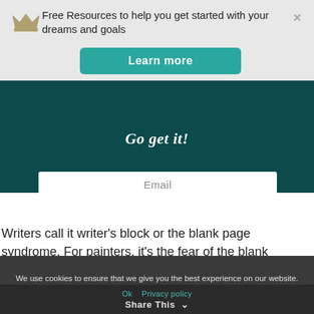Free Resources to help you get started with your dreams and goals
Learn more
Email
Go get it!
Writers call it writer's block or the blank page syndrome. For painters, it's the fear of the blank canvas. Everyone suffers
We use cookies to ensure that we give you the best experience on our website. If you continue to use this site we will assume that you are happy with it.
Ok   Privacy policy   Share This